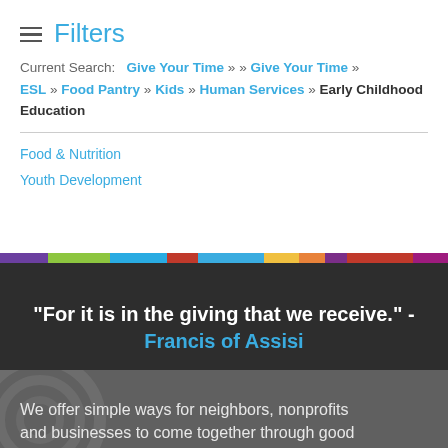Filters
Current Search: Give Your Time » » Give Your Time » ESL » Food Pantry » Kids » Human Services » Early Childhood Education
Food & Nutrition
Youth Development
"For it is in the giving that we receive." - Francis of Assisi
We offer simple ways for neighbors, nonprofits and businesses to come together through good